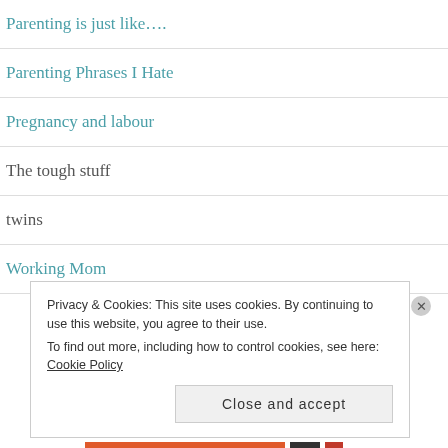Parenting is just like....
Parenting Phrases I Hate
Pregnancy and labour
The tough stuff
twins
Working Mom
Privacy & Cookies: This site uses cookies. By continuing to use this website, you agree to their use. To find out more, including how to control cookies, see here: Cookie Policy
Close and accept